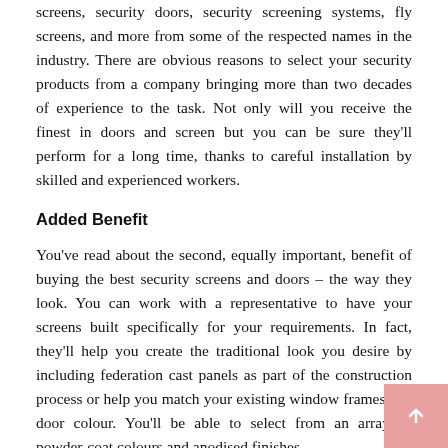screens, security doors, security screening systems, fly screens, and more from some of the respected names in the industry. There are obvious reasons to select your security products from a company bringing more than two decades of experience to the task. Not only will you receive the finest in doors and screen but you can be sure they'll perform for a long time, thanks to careful installation by skilled and experienced workers.
Added Benefit
You've read about the second, equally important, benefit of buying the best security screens and doors – the way they look. You can work with a representative to have your screens built specifically for your requirements. In fact, they'll help you create the traditional look you desire by including federation cast panels as part of the construction process or help you match your existing window frames and door colour. You'll be able to select from an array of powder-coat colours and anodised finishes.